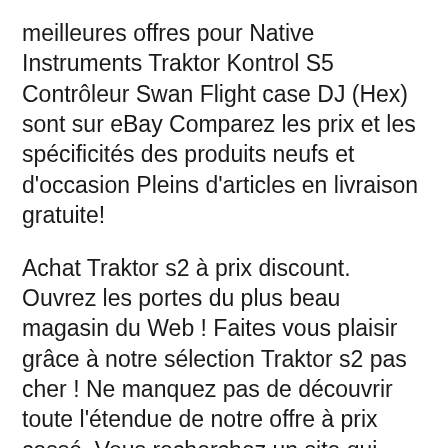meilleures offres pour Native Instruments Traktor Kontrol S5 Contrôleur Swan Flight case DJ (Hex) sont sur eBay Comparez les prix et les spécificités des produits neufs et d'occasion Pleins d'articles en livraison gratuite!
Achat Traktor s2 à prix discount. Ouvrez les portes du plus beau magasin du Web ! Faites vous plaisir grâce à notre sélection Traktor s2 pas cher ! Ne manquez pas de découvrir toute l'étendue de notre offre à prix cassé. Vous recherchez un site qui vous guide, vous conseille sur votre achat Traktor s2 moins cher, vous présente les Note: for troubleshooting a Traktor Ready